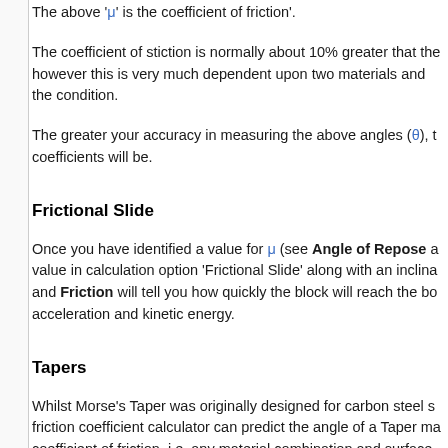The above 'μ' is the coefficient of friction'.
The coefficient of stiction is normally about 10% greater that the however this is very much dependent upon two materials and the condition.
The greater your accuracy in measuring the above angles (θ), the coefficients will be.
Frictional Slide
Once you have identified a value for μ (see Angle of Repose a value in calculation option 'Frictional Slide' along with an inclina and Friction will tell you how quickly the block will reach the bo acceleration and kinetic energy.
Tapers
Whilst Morse's Taper was originally designed for carbon steel s friction coefficient calculator can predict the angle of a Taper ma coefficient of friction, i.e. any material combination and surface same self-holding capacity as Morse's Taper of the same Grade
The friction coefficient calculator gives you the option of selecti CalQlata) coefficient of friction via a series of material combinat enter your own independent value. Whilst Friction will accept a accordance with our 'GiGo' principal, values less than or equal